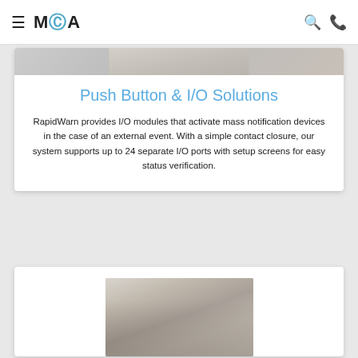MCA — navigation bar with hamburger menu, logo, search icon, phone icon
Push Button & I/O Solutions
RapidWarn provides I/O modules that activate mass notification devices in the case of an external event. With a simple contact closure, our system supports up to 24 separate I/O ports with setup screens for easy status verification.
[Figure (photo): Partial photo visible at top of card, grey/beige tones]
[Figure (photo): Person holding a smartphone, wearing a grey knit sweater, partial view of shelves in background]